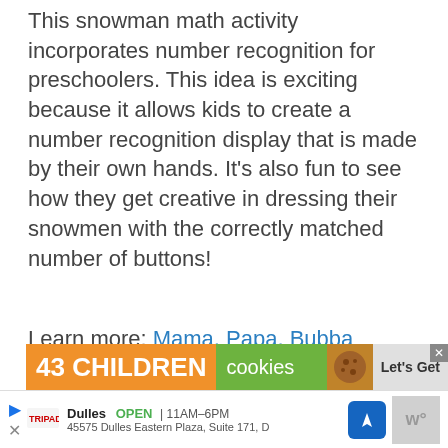This snowman math activity incorporates number recognition for preschoolers. This idea is exciting because it allows kids to create a number recognition display that is made by their own hands. It's also fun to see how they get creative in dressing their snowmen with the correctly matched number of buttons!
Learn more: Mama, Papa, Bubba
[Figure (other): Advertisement banner showing '43 CHILDREN cookies Let's Get' with orange, green, brown color scheme and a close button]
[Figure (other): Bottom navigation bar with Dulles store info: OPEN 11AM-6PM, 45575 Dulles Eastern Plaza, Suite 171, D, with map icon and thumbnail]